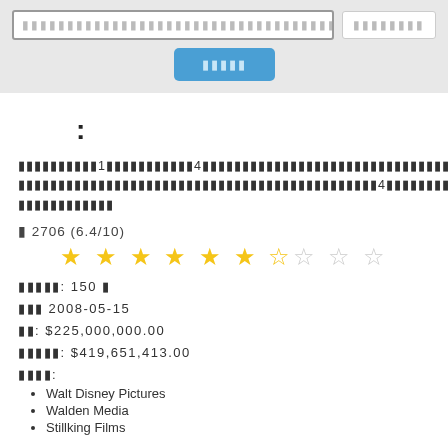[search bar] [search button] [blue button]
ОО:
ОООООООООООо1ОООООООООООо4ООООООООООООООООООООООООООООООООООООООООООООООООООООоо1300 ООООООООООООООООООООООООООООООООООООООООООООООООООо4ООООООООООООООООООООООООООоооооооооооо
о 2706 (6.4/10)
[Figure (other): Star rating display: 6.5 out of 10 stars (7 filled/half stars, 3 empty)]
ООООО: 150 О
ООО 2008-05-15
ОО: $225,000,000.00
ООООО: $419,651,413.00
ООООО:
Walt Disney Pictures
Walden Media
Stillking Films